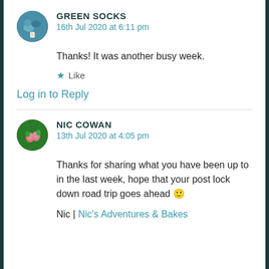GREEN SOCKS
16th Jul 2020 at 6:11 pm
Thanks! It was another busy week.
★ Like
Log in to Reply
NIC COWAN
13th Jul 2020 at 4:05 pm
Thanks for sharing what you have been up to in the last week, hope that your post lock down road trip goes ahead 🙂
Nic | Nic's Adventures & Bakes